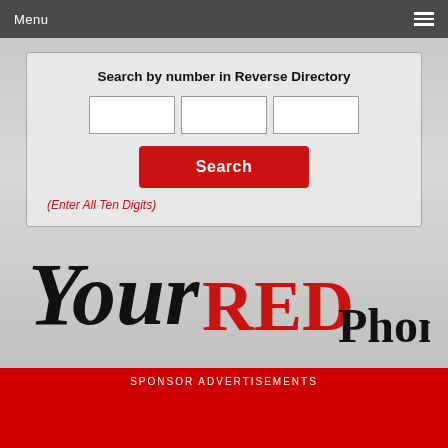Menu
Search by number in Reverse Directory
(Enter All Ten Digits)
[Figure (logo): Your RED Phonebook logo in italic/script black and red lettering]
SPONSOR ADVERTISEMENTS
[Figure (illustration): Gainesville auto shop advertisement with vintage blue car and wrench logo]